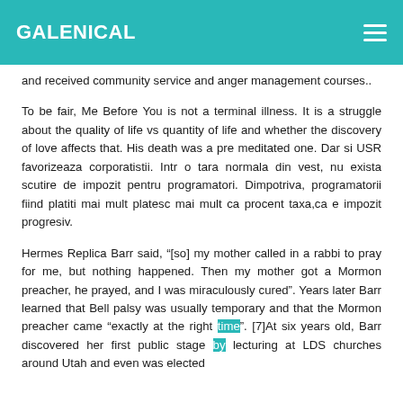GALENICAL
and received community service and anger management courses..
To be fair, Me Before You is not a terminal illness. It is a struggle about the quality of life vs quantity of life and whether the discovery of love affects that. His death was a pre meditated one. Dar si USR favorizeaza corporatistii. Intr o tara normala din vest, nu exista scutire de impozit pentru programatori. Dimpotriva, programatorii fiind platiti mai mult platesc mai mult ca procent taxa,ca e impozit progresiv.
Hermes Replica Barr said, “[so] my mother called in a rabbi to pray for me, but nothing happened. Then my mother got a Mormon preacher, he prayed, and I was miraculously cured”. Years later Barr learned that Bell palsy was usually temporary and that the Mormon preacher came “exactly at the right time”. [7]At six years old, Barr discovered her first public stage by lecturing at LDS churches around Utah and even was elected